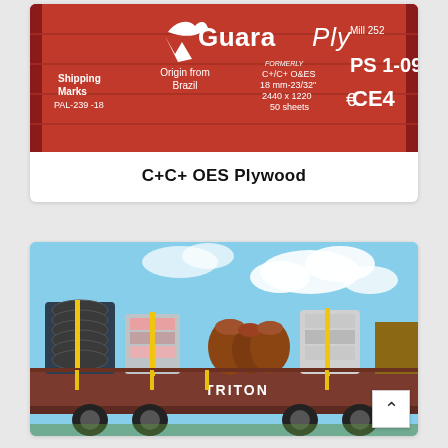[Figure (photo): Red GuaraPly plywood packaging with white text showing brand name, Mill 252, Origin from Brazil, PS 1-09, C+/C+ O&ES, 18mm-23/32, 2440x1220, 50 sheets, CE4 marking, and shipping marks PAL-239-18]
C+C+ OES Plywood
[Figure (photo): Flatbed railcar or truck loaded with bundles of materials including coils/rolls secured with yellow straps against a blue sky with clouds. TRITON visible on the side.]